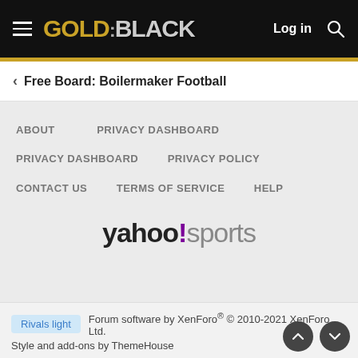GOLD AND BLACK — Log in [search]
< Free Board: Boilermaker Football
ABOUT
PRIVACY DASHBOARD
PRIVACY DASHBOARD
PRIVACY POLICY
CONTACT US
TERMS OF SERVICE
HELP
[Figure (logo): Yahoo! Sports logo in large bold text]
Rivals light   Forum software by XenForo® © 2010-2021 XenForo Ltd.
Style and add-ons by ThemeHouse